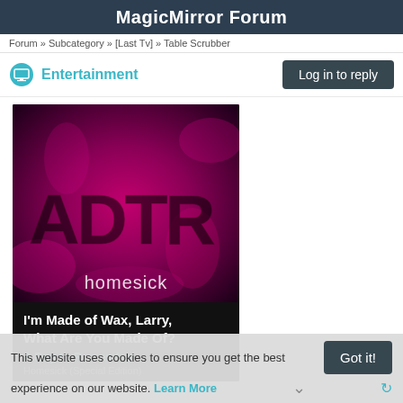MagicMirror Forum
Forum » Subcategory » [Last Tv] » Table Scrubber
Entertainment
Log in to reply
[Figure (photo): Album art for 'Homesick' by A Day to Remember (ADTR), Special Edition, featuring pink and dark swirling artwork with large ADTR letters]
I'm Made of Wax, Larry, What Are You Made Of?
A Day to Remember
Homesick (Special Edition)
This website uses cookies to ensure you get the best experience on our website. Learn More
Got it!